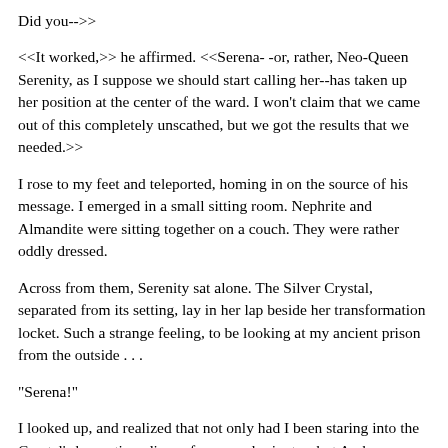Did you-->>
<<It worked,>> he affirmed. <<Serena- -or, rather, Neo-Queen Serenity, as I suppose we should start calling her--has taken up her position at the center of the ward. I won't claim that we came out of this completely unscathed, but we got the results that we needed.>>
I rose to my feet and teleported, homing in on the source of his message. I emerged in a small sitting room. Nephrite and Almandite were sitting together on a couch. They were rather oddly dressed.
Across from them, Serenity sat alone. The Silver Crystal, separated from its setting, lay in her lap beside her transformation locket. Such a strange feeling, to be looking at my ancient prison from the outside . . .
"Serena!"
I looked up, and realized that not only had I been staring into the Crystal's hypnotic radiance for several minutes, but Amber, carrying Luna, had arrived during my period of distraction. The black cat was fighting to get out of Amber's arms and across the room, but Amber wasn't having any of it. She did, however, carry the cat over to Serenity and lower her onto the arm of the young